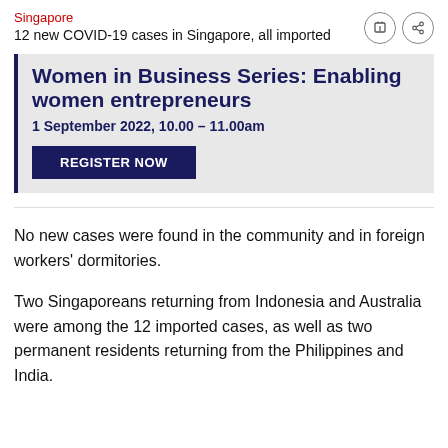Singapore
12 new COVID-19 cases in Singapore, all imported
[Figure (infographic): Advertisement banner for Women in Business Series: Enabling women entrepreneurs, 1 September 2022, 10.00 – 11.00am, with a REGISTER NOW button]
No new cases were found in the community and in foreign workers' dormitories.
Two Singaporeans returning from Indonesia and Australia were among the 12 imported cases, as well as two permanent residents returning from the Philippines and India.